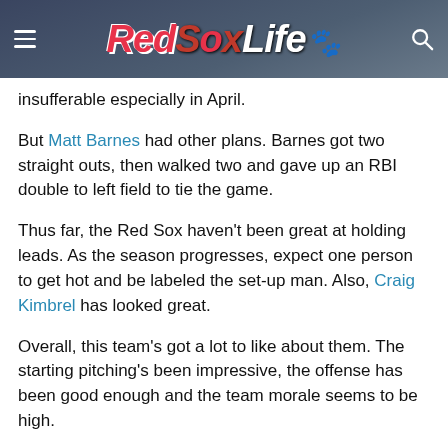RedSoxLife
insufferable especially in April.
But Matt Barnes had other plans. Barnes got two straight outs, then walked two and gave up an RBI double to left field to tie the game.
Thus far, the Red Sox haven't been great at holding leads. As the season progresses, expect one person to get hot and be labeled the set-up man. Also, Craig Kimbrel has looked great.
Overall, this team's got a lot to like about them. The starting pitching's been impressive, the offense has been good enough and the team morale seems to be high.
And even better: their celebrations all involve Fortnite. What's not to love?